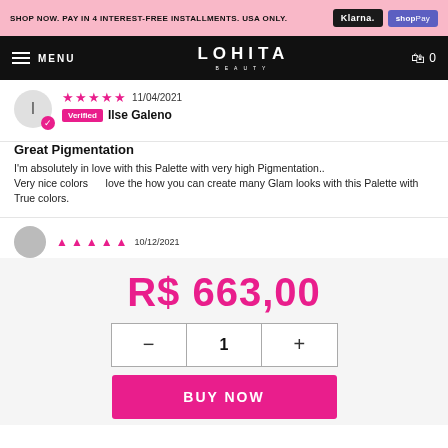SHOP NOW. PAY IN 4 INTEREST-FREE INSTALLMENTS. USA ONLY. | Klarna | shopPay
MENU | LOHITA BEAUTY | 0
I | Verified Ilse Galeno | 11/04/2021
Great Pigmentation
I'm absolutely in love with this Palette with very high Pigmentation..
Very nice colors    love the how you can create many Glam looks with this Palette with True colors.
10/12/2021 (partial second review)
R$ 663,00
− 1 +
BUY NOW